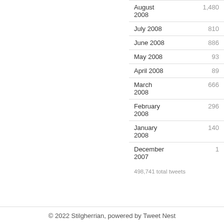August 2008  1,480
July 2008  810
June 2008  886
May 2008  93
April 2008  89
March 2008  666
February 2008  296
January 2008  140
December 2007  1
498,741 total tweets
© 2022 Stilgherrian, powered by Tweet Nest